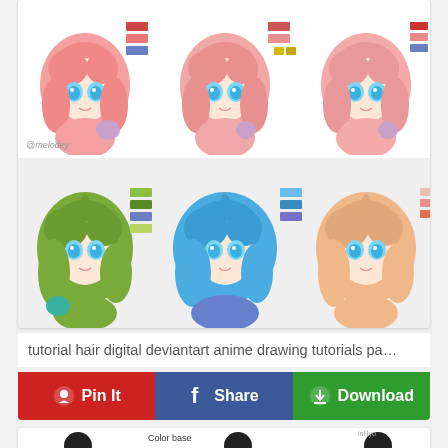[Figure (illustration): Anime-style chibi character heads with pink/salmon hair shown in three color palette variations, each accompanied by color swatches on the right. Top row shows three pink-haired characters with blue eyes. Watermark '@melodey' in lower left.]
[Figure (illustration): Anime-style chibi character heads in three color variations: green hair, blue hair, and peach/orange hair, each with blue eyes and color swatches.]
tutorial hair digital deviantart anime drawing tutorials pa…
[Figure (infographic): Three social media action buttons: Pinterest 'Pin It' (red), Facebook 'Share' (blue), and 'Download' (green) with icons.]
[Figure (illustration): Partial view of a second card showing anime eye/face drawing tutorial with 'Color base' text and a software screenshot.]